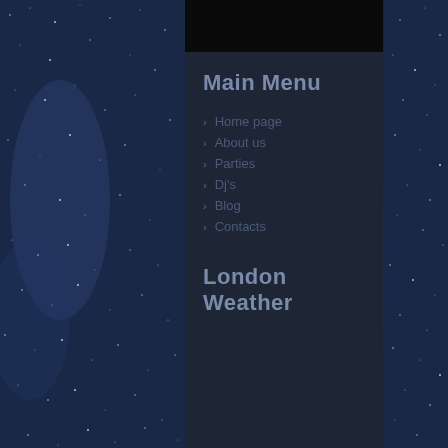Main Menu
Home page
About us
Parties
Dj's
Blog
Contacts
London Weather